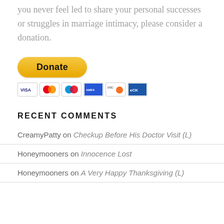you never feel led to share your personal successes or struggles in marriage intimacy, please consider a donation.
[Figure (other): PayPal Donate button with payment card icons (Visa, Mastercard, Maestro, American Express, Discover, eCheck)]
RECENT COMMENTS
CreamyPatty on Checkup Before His Doctor Visit (L)
Honeymooners on Innocence Lost
Honeymooners on A Very Happy Thanksgiving (L)